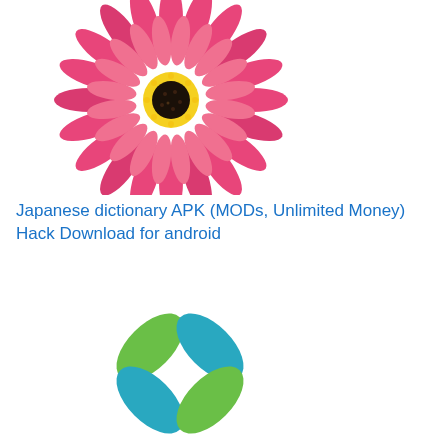[Figure (photo): Pink gerbera daisy flower with yellow and dark center, cut out on white background]
Japanese dictionary APK (MODs, Unlimited Money) Hack Download for android
[Figure (logo): Four-leaf clover style logo with green and teal/blue leaves arranged in a cross pattern]